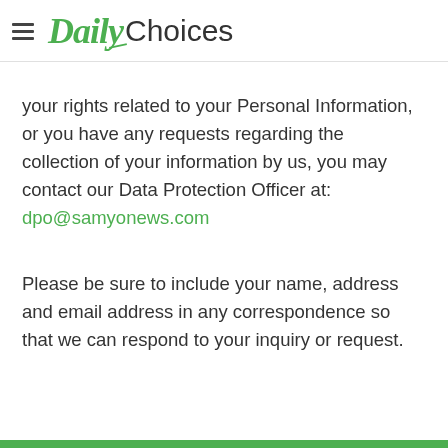Daily Choices
your rights related to your Personal Information, or you have any requests regarding the collection of your information by us, you may contact our Data Protection Officer at: dpo@samyonews.com
Please be sure to include your name, address and email address in any correspondence so that we can respond to your inquiry or request.